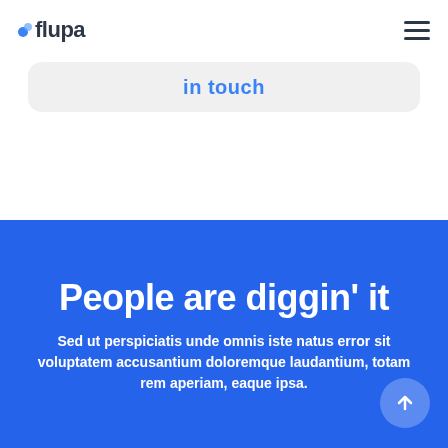flupa
in touch
People are diggin' it
Sed ut perspiciatis unde omnis iste natus error sit voluptatem accusantium doloremque laudantium, totam rem aperiam, eaque ipsa.